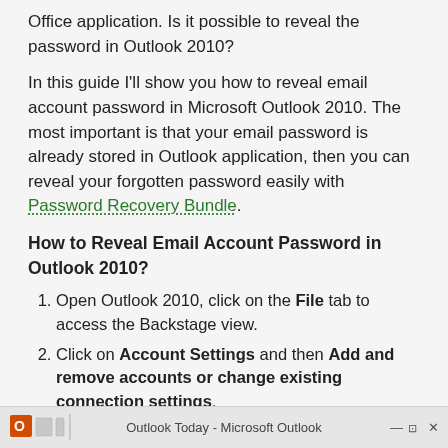Office application. Is it possible to reveal the password in Outlook 2010?
In this guide I'll show you how to reveal email account password in Microsoft Outlook 2010. The most important is that your email password is already stored in Outlook application, then you can reveal your forgotten password easily with Password Recovery Bundle.
How to Reveal Email Account Password in Outlook 2010?
Open Outlook 2010, click on the File tab to access the Backstage view.
Click on Account Settings and then Add and remove accounts or change existing connection settings.
[Figure (screenshot): Bottom taskbar of Microsoft Outlook 2010 application window showing the Outlook Today title bar with minimize, restore, and close buttons.]